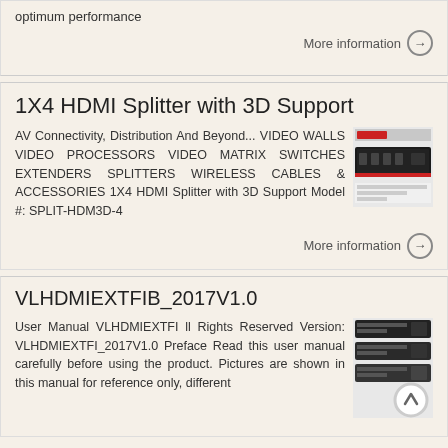optimum performance
More information →
1X4 HDMI Splitter with 3D Support
AV Connectivity, Distribution And Beyond... VIDEO WALLS VIDEO PROCESSORS VIDEO MATRIX SWITCHES EXTENDERS SPLITTERS WIRELESS CABLES & ACCESSORIES 1X4 HDMI Splitter with 3D Support Model #: SPLIT-HDM3D-4
[Figure (photo): Product image of 1X4 HDMI Splitter with 3D Support]
More information →
VLHDMIEXTFIB_2017V1.0
User Manual VLHDMIEXTFI ll Rights Reserved Version: VLHDMIEXTFI_2017V1.0 Preface Read this user manual carefully before using the product. Pictures are shown in this manual for reference only, different
[Figure (photo): Product image of VLHDMIEXTFI device and manual cover]